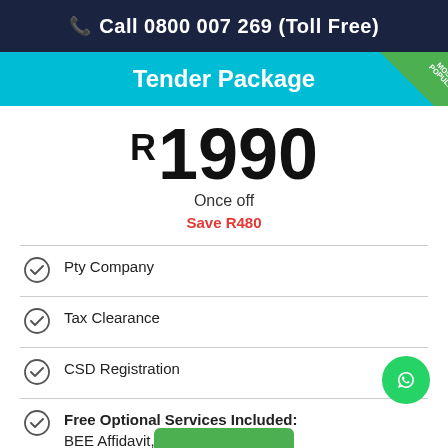Call 0800 007 269 (Toll Free)
Tender Package
R1990
Once off
Save R480
Pty Company
Tax Clearance
CSD Registration
Free Optional Services Included: BEE Affidavit, Bank Account and Website.